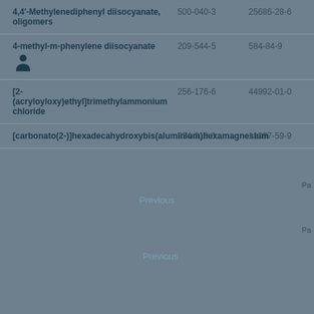| 4,4'-Methylenediphenyl diisocyanate, oligomers | 500-040-3 | 25686-28-6 |
| 4-methyl-m-phenylene diisocyanate | 209-544-5 | 584-84-9 |
| [2-(acryloyloxy)ethyl]trimethylammonium chloride | 256-176-6 | 44992-01-0 |
| [carbonato(2-)]hexadecahydroxybis(aluminium)hexamagnesium | 234-319-3 | 11097-59-9 |
Pa
Previous